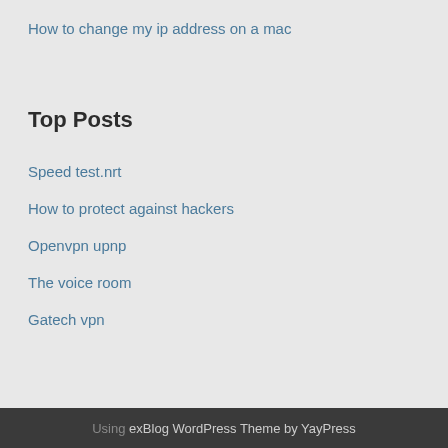How to change my ip address on a mac
Top Posts
Speed test.nrt
How to protect against hackers
Openvpn upnp
The voice room
Gatech vpn
Using exBlog WordPress Theme by YayPress